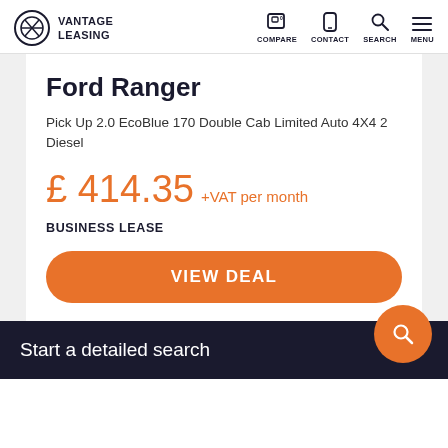VANTAGE LEASING — COMPARE CONTACT SEARCH MENU
Ford Ranger
Pick Up 2.0 EcoBlue 170 Double Cab Limited Auto 4X4 2 Diesel
£ 414.35 +VAT per month
BUSINESS LEASE
VIEW DEAL
Start a detailed search